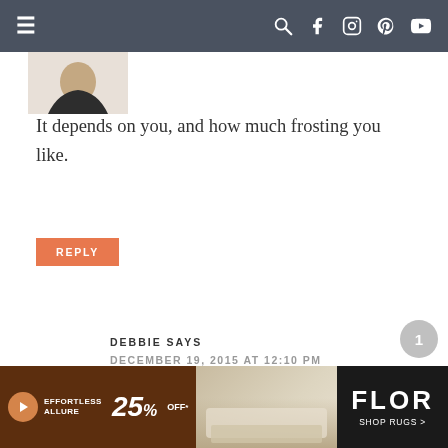≡  [search] [facebook] [instagram] [pinterest] [youtube]
[Figure (photo): Partial avatar/profile photo of a person at top left]
It depends on you, and how much frosting you like.
REPLY
DEBBIE SAYS
DECEMBER 19, 2015 AT 12:10 PM
i just made this cake, and i must say it was
[Figure (other): Advertisement banner for FLOR rugs — Effortless Allure 25% OFF, Shop Rugs]